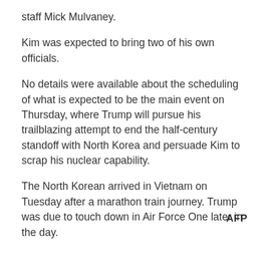staff Mick Mulvaney.
Kim was expected to bring two of his own officials.
No details were available about the scheduling of what is expected to be the main event on Thursday, where Trump will pursue his trailblazing attempt to end the half-century standoff with North Korea and persuade Kim to scrap his nuclear capability.
The North Korean arrived in Vietnam on Tuesday after a marathon train journey. Trump was due to touch down in Air Force One later in the day.
AFP